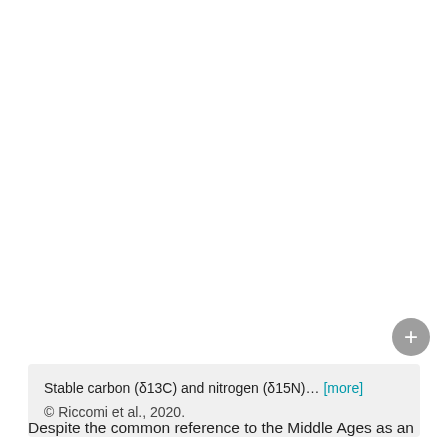Stable carbon (δ13C) and nitrogen (δ15N)… [more]
© Riccomi et al., 2020.
Despite the common reference to the Middle Ages as an